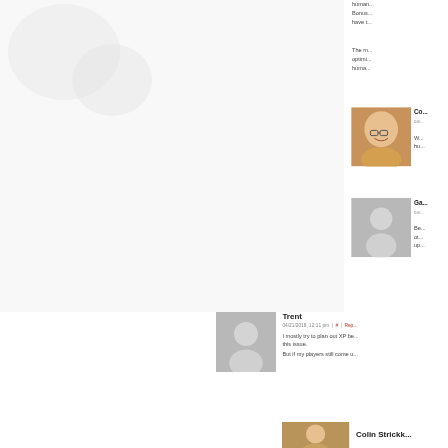human... Bonus... have t...
The m... optimi... huma...
[Figure (illustration): Cartoon avatar of a bald person with glasses and a smile on an orange/brown background]
Co... 04/... W... hu...
[Figure (illustration): Generic grey placeholder avatar silhouette]
Ga... 04/... Be... ot... up...
[Figure (illustration): Generic grey placeholder avatar silhouette]
Trent
04/21/2018, 12:11 pm | # | Rep...
I mostly try to plan out XP be... this issue.
But if my players still come u...
[Figure (illustration): Cartoon avatar of a person, partially visible at bottom]
Colin Strickk...